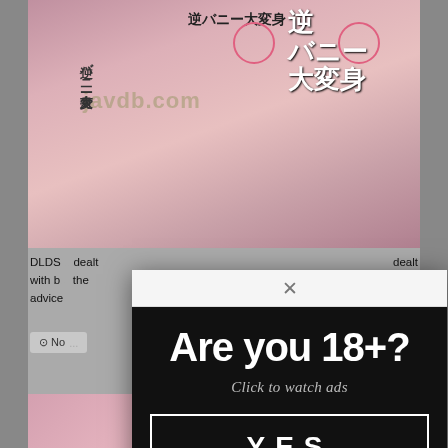[Figure (screenshot): Website screenshot showing adult content site with Japanese text, product images, watermark 'javdb.com', and an age verification modal dialog overlaying the page]
DLDS dealt with b the advice
1006
No
Are you 18+?
Click to watch ads
YES